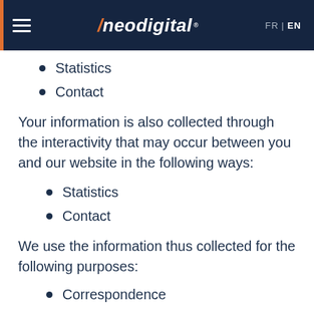neodigital — FR | EN
Statistics
Contact
Your information is also collected through the interactivity that may occur between you and our website in the following ways:
Statistics
Contact
We use the information thus collected for the following purposes:
Correspondence